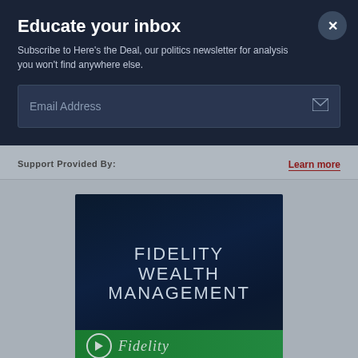Educate your inbox
Subscribe to Here's the Deal, our politics newsletter for analysis you won't find anywhere else.
Email Address
Support Provided By:
Learn more
[Figure (advertisement): Fidelity Wealth Management advertisement with dark blue/teal gradient background showing the text 'FIDELITY WEALTH MANAGEMENT' in large light gray letters, with a green bar at the bottom containing a play button and the Fidelity logo in italic text.]